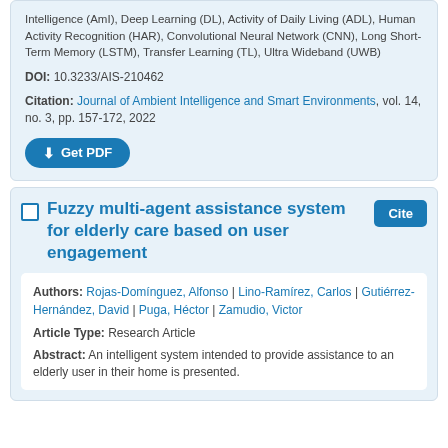Intelligence (AmI), Deep Learning (DL), Activity of Daily Living (ADL), Human Activity Recognition (HAR), Convolutional Neural Network (CNN), Long Short-Term Memory (LSTM), Transfer Learning (TL), Ultra Wideband (UWB)
DOI: 10.3233/AIS-210462
Citation: Journal of Ambient Intelligence and Smart Environments, vol. 14, no. 3, pp. 157-172, 2022
Get PDF
Fuzzy multi-agent assistance system for elderly care based on user engagement
Authors: Rojas-Domínguez, Alfonso | Lino-Ramírez, Carlos | Gutiérrez-Hernández, David | Puga, Héctor | Zamudio, Victor
Article Type: Research Article
Abstract: An intelligent system intended to provide assistance to an elderly user in their home is presented.